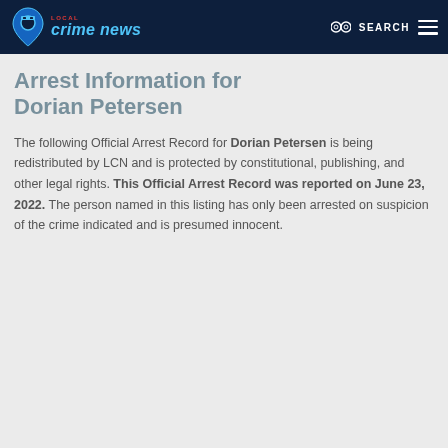Local Crime News — SEARCH
Arrest Information for Dorian Petersen
The following Official Arrest Record for Dorian Petersen is being redistributed by LCN and is protected by constitutional, publishing, and other legal rights. This Official Arrest Record was reported on June 23, 2022. The person named in this listing has only been arrested on suspicion of the crime indicated and is presumed innocent.